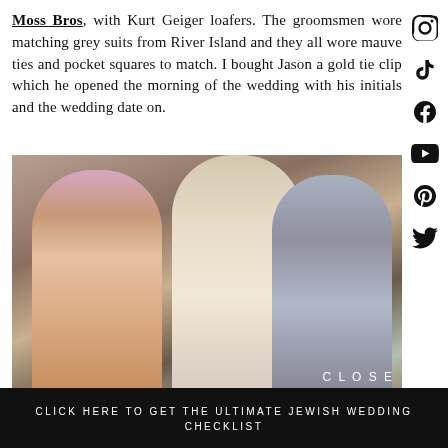Moss Bros, with Kurt Geiger loafers. The groomsmen wore matching grey suits from River Island and they all wore mauve ties and pocket squares to match. I bought Jason a gold tie clip which he opened the morning of the wedding with his initials and the wedding date on.
[Figure (photo): Three women posing together indoors — one in a pink dress with a large fascinator hat on the left, a bride in a white lace gown holding a bouquet in the centre, and a woman in a silver sequined dress on the right. Interior room with natural window light.]
CLOSE
CLICK HERE TO GET THE ULTIMATE JEWISH WEDDING CHECKLIST